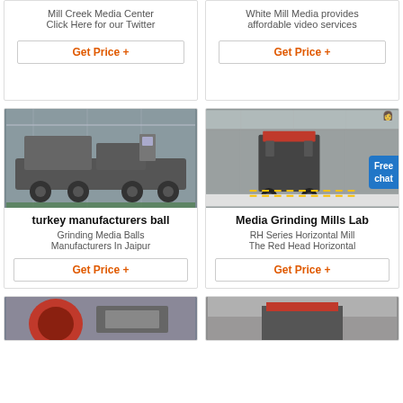[Figure (photo): Top-left card photo area (partially visible, cropped at top) showing industrial mill equipment]
Mill Creek Media Center
Click Here for our Twitter
Get Price +
[Figure (photo): Top-right card photo area (partially visible) showing industrial mill equipment]
White Mill Media provides
affordable video services
Get Price +
[Figure (photo): Photo of mobile crushing/grinding industrial machines on a truck in a factory hall]
turkey manufacturers ball
Grinding Media Balls
Manufacturers In Jaipur
Get Price +
[Figure (photo): Photo of an industrial impact crusher/mill machine in a factory with white aggregate material on the floor; Free chat badge overlaid]
Media Grinding Mills Lab
RH Series Horizontal Mill
The Red Head Horizontal
Get Price +
[Figure (photo): Bottom-left card photo (partially visible, cropped) showing industrial mill equipment]
[Figure (photo): Bottom-right card photo (partially visible, cropped) showing industrial equipment in factory]